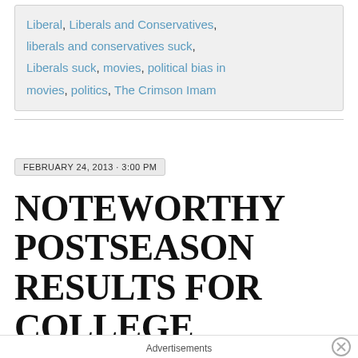Liberal, Liberals and Conservatives, liberals and conservatives suck, Liberals suck, movies, political bias in movies, politics, The Crimson Imam
FEBRUARY 24, 2013 · 3:00 PM
NOTEWORTHY POSTSEASON RESULTS FOR COLLEGE BASKETBALL AND HOCKEY FROM
Advertisements